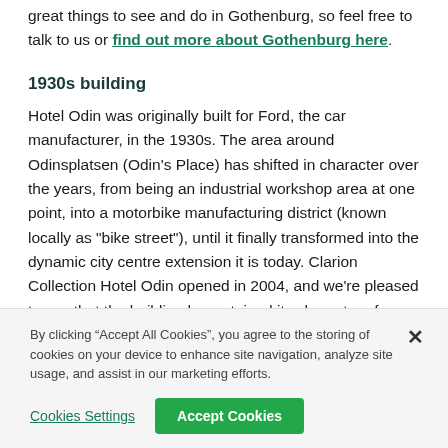great things to see and do in Gothenburg, so feel free to talk to us or find out more about Gothenburg here.
1930s building
Hotel Odin was originally built for Ford, the car manufacturer, in the 1930s. The area around Odinsplatsen (Odin's Place) has shifted in character over the years, from being an industrial workshop area at one point, into a motorbike manufacturing district (known locally as "bike street"), until it finally transformed into the dynamic city centre extension it is today. Clarion Collection Hotel Odin opened in 2004, and we're pleased to say that the building has retained its character of architectural
By clicking “Accept All Cookies”, you agree to the storing of cookies on your device to enhance site navigation, analyze site usage, and assist in our marketing efforts.
Cookies Settings
Accept Cookies